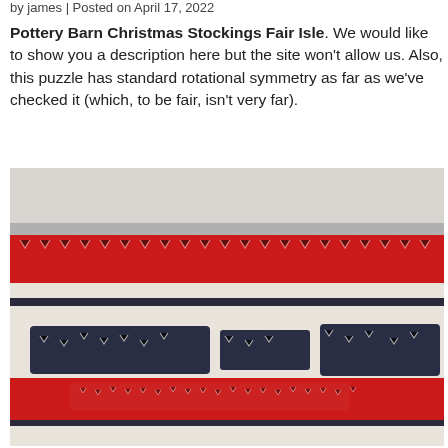by james | Posted on April 17, 2022
Pottery Barn Christmas Stockings Fair Isle. We would like to show you a description here but the site won't allow us. Also, this puzzle has standard rotational symmetry as far as we've checked it (which, to be fair, isn't very far).
[Figure (photo): Close-up photograph of a knitted Fair Isle Christmas stocking featuring red, white/cream, and dark grey/black patterns including reindeer and geometric designs]